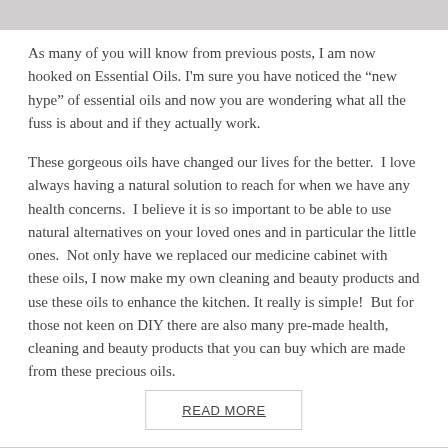[Figure (photo): Partial photo strip at top of page, showing cropped images, mostly white/light tones]
As many of you will know from previous posts, I am now hooked on Essential Oils. I'm sure you have noticed the “new hype” of essential oils and now you are wondering what all the fuss is about and if they actually work.
These gorgeous oils have changed our lives for the better.  I love always having a natural solution to reach for when we have any health concerns.  I believe it is so important to be able to use natural alternatives on your loved ones and in particular the little ones.  Not only have we replaced our medicine cabinet with these oils, I now make my own cleaning and beauty products and use these oils to enhance the kitchen. It really is simple!  But for those not keen on DIY there are also many pre-made health, cleaning and beauty products that you can buy which are made from these precious oils.
READ MORE